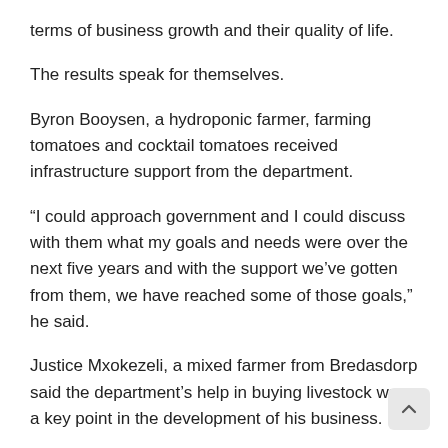terms of business growth and their quality of life.
The results speak for themselves.
Byron Booysen, a hydroponic farmer, farming tomatoes and cocktail tomatoes received infrastructure support from the department.
“I could approach government and I could discuss with them what my goals and needs were over the next five years and with the support we’ve gotten from them, we have reached some of those goals,” he said.
Justice Mxokezeli, a mixed farmer from Bredasdorp said the department’s help in buying livestock was a key point in the development of his business.
“I’m looking to become a big guy. I want to be competitive locally and internationally through exports,” he said of his